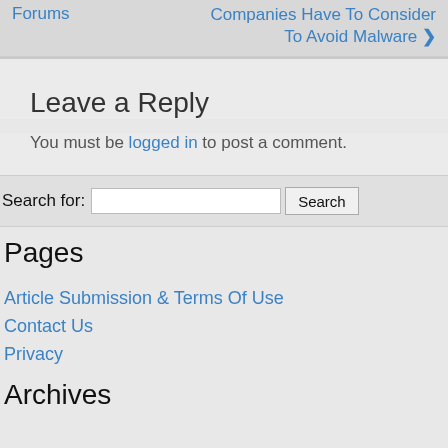Forums | Companies Have To Consider To Avoid Malware ❯
Leave a Reply
You must be logged in to post a comment.
Search for: [input] Search
Pages
Article Submission & Terms Of Use
Contact Us
Privacy
Archives